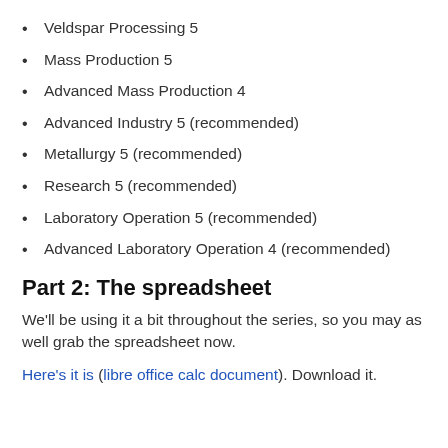Veldspar Processing 5
Mass Production 5
Advanced Mass Production 4
Advanced Industry 5 (recommended)
Metallurgy 5 (recommended)
Research 5 (recommended)
Laboratory Operation 5 (recommended)
Advanced Laboratory Operation 4 (recommended)
Part 2: The spreadsheet
We'll be using it a bit throughout the series, so you may as well grab the spreadsheet now.
Here's it is (libre office calc document). Download it.